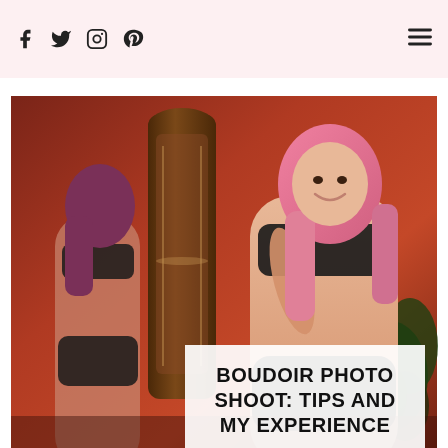Social icons: Facebook, Twitter, Instagram, Pinterest | Menu icon
[Figure (photo): Woman with pink hair wearing black lace lingerie, smiling, standing in front of an ornate mirror against a deep red/orange wall, with a plant in the background. Her reflection is visible in the mirror.]
BOUDOIR PHOTO SHOOT: TIPS AND MY EXPERIENCE